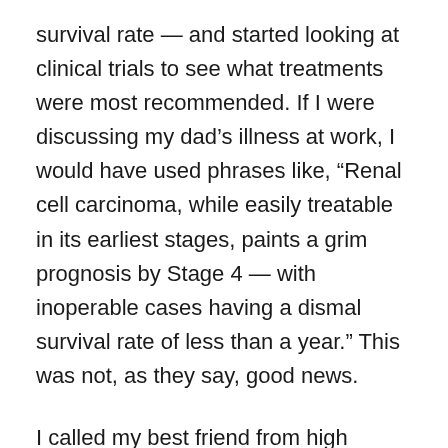survival rate — and started looking at clinical trials to see what treatments were most recommended. If I were discussing my dad's illness at work, I would have used phrases like, “Renal cell carcinoma, while easily treatable in its earliest stages, paints a grim prognosis by Stage 4 — with inoperable cases having a dismal survival rate of less than a year.” This was not, as they say, good news.
I called my best friend from high school, who is in medical school and who speaks medical-ese better than the language of emotions, and we agreed that it was probably not a good idea to have a lot of hope. Then I went to my writing group and told my boyfriend, and in his safe arms, no other words were necessary.